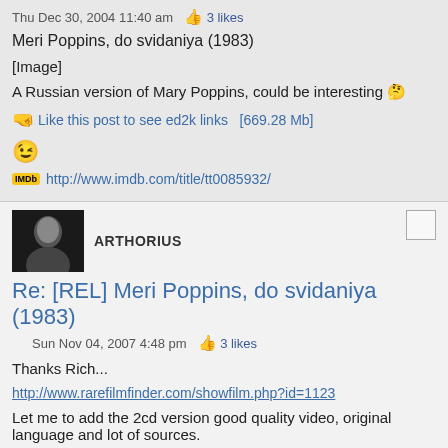Thu Dec 30, 2004 11:40 am  👍 3 likes
Meri Poppins, do svidaniya (1983)
[Image]
A Russian version of Mary Poppins, could be interesting 🤔
🤜 Like this post to see ed2k links  [669.28 Mb]
😉
IMDb http://www.imdb.com/title/tt0085932/
ARTHORIUS
Re: [REL] Meri Poppins, do svidaniya (1983)
Sun Nov 04, 2007 4:48 pm  👍 3 likes
Thanks Rich...
http://www.rarefilmfinder.com/showfilm.php?id=1123
Let me to add the 2cd version good quality video, original language and lot of sources.